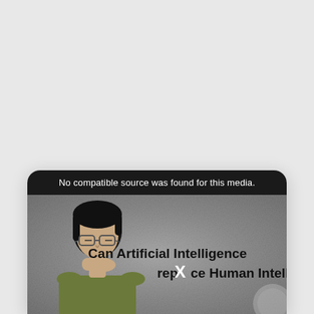[Figure (screenshot): A screenshot of a media player embedded in a tablet/device frame. The top portion shows a black bar with the text 'No compatible source was found for this media.' in white. Below that is a thumbnail image showing a person (young man with glasses, wearing an olive shirt, hand on chin in a thinking pose) against a textured gray background. On the right side of the thumbnail, bold black text reads 'Can Artificial Intelligence replace Human Intelligence' with a white X mark overlaid on the word 'replace'. There is a faint circular watermark in the bottom right corner.]
No compatible source was found for this media.
Can Artificial Intelligence replace Human Intelligence